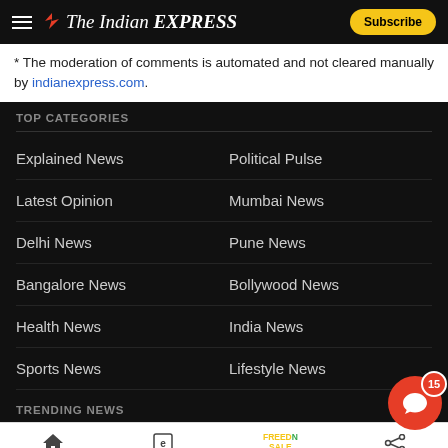The Indian EXPRESS
* The moderation of comments is automated and not cleared manually by indianexpress.com.
TOP CATEGORIES
Explained News
Political Pulse
Latest Opinion
Mumbai News
Delhi News
Pune News
Bangalore News
Bollywood News
Health News
India News
Sports News
Lifestyle News
TRENDING NEWS
Home | ePaper | Premium | Share | STORY